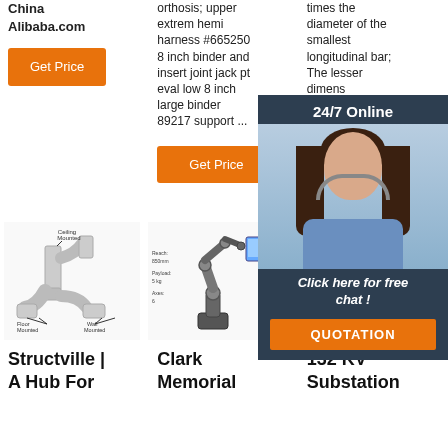China Alibaba.com
Get Price
orthosis; upper extrem hemi harness #6652508 inch binder and insert joint jack pt eval low 8 inch large binder 89217 support ...
Get Price
times the diameter of the smallest longitudinal bar; The lesser dimension of the wall i.e. thickness mm
Get
[Figure (photo): 24/7 Online customer service agent - woman with headset smiling]
Click here for free chat !
QUOTATION
[Figure (engineering-diagram): Structural pipe/duct diagram showing ceiling mounted and floor mounted wall configurations with arrows]
[Figure (photo): Robotic arm with 6 degrees of freedom shown with a monitor display]
[Figure (photo): Yellow industrial crane or lifting equipment against blue sky]
Structville | A Hub For
Clark Memorial
132 KV Substation